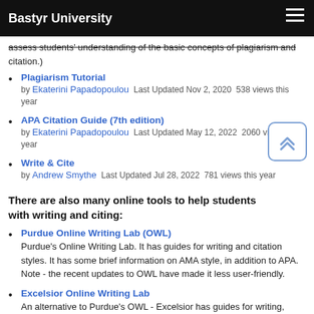Bastyr University
assess students' understanding of the basic concepts of plagiarism and citation.)
Plagiarism Tutorial by Ekaterini Papadopoulou  Last Updated Nov 2, 2020  538 views this year
APA Citation Guide (7th edition) by Ekaterini Papadopoulou  Last Updated May 12, 2022  2060 views this year
Write & Cite by Andrew Smythe  Last Updated Jul 28, 2022  781 views this year
There are also many online tools to help students with writing and citing:
Purdue Online Writing Lab (OWL)
Purdue's Online Writing Lab. It has guides for writing and citation styles. It has some brief information on AMA style, in addition to APA. Note - the recent updates to OWL have made it less user-friendly.
Excelsior Online Writing Lab
An alternative to Purdue's OWL - Excelsior has guides for writing, citing, and avoiding plagiarism.